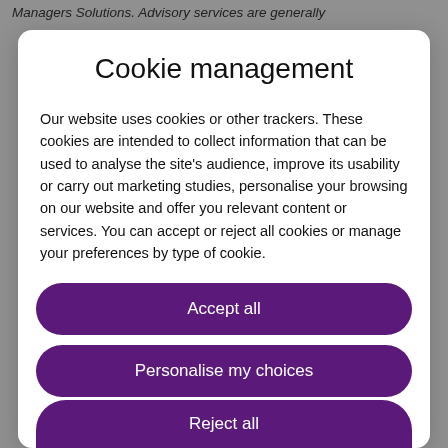Managers Solutions. Advisory services are generally
Cookie management
Our website uses cookies or other trackers. These cookies are intended to collect information that can be used to analyse the site's audience, improve its usability or carry out marketing studies, personalise your browsing on our website and offer you relevant content or services. You can accept or reject all cookies or manage your preferences by type of cookie.
Accept all
Personalise my choices
Reject all